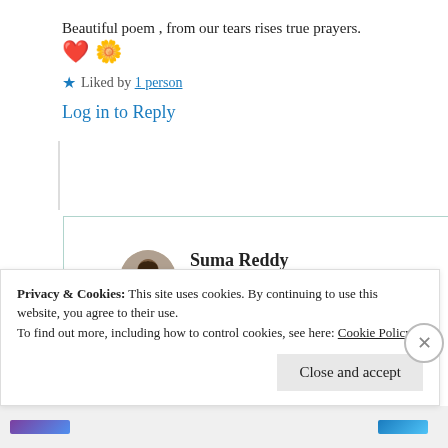Beautiful poem , from our tears rises true prayers. ❤️ 🌼
★ Liked by 1 person
Log in to Reply
Suma Reddy
26th Jun 2021 at 8:44 pm
Privacy & Cookies: This site uses cookies. By continuing to use this website, you agree to their use.
To find out more, including how to control cookies, see here: Cookie Policy